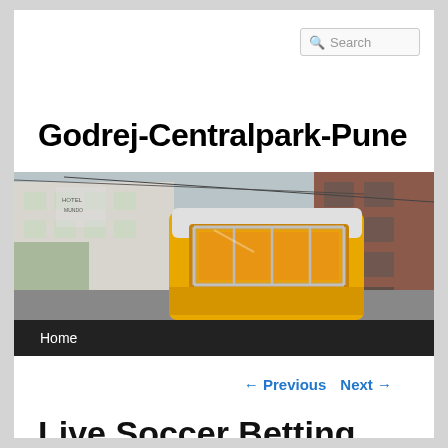Search
Godrej-Centralpark-Pune
[Figure (photo): A yellow tram/funicular car in a narrow European city street between buildings, with warm interior lighting visible. Hotel sign visible in background.]
Home
← Previous   Next →
Live Soccer Betting